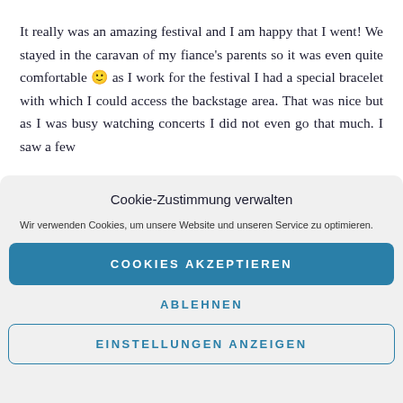It really was an amazing festival and I am happy that I went! We stayed in the caravan of my fiance's parents so it was even quite comfortable 🙂 as I work for the festival I had a special bracelet with which I could access the backstage area. That was nice but as I was busy watching concerts I did not even go that much. I saw a few
Cookie-Zustimmung verwalten
Wir verwenden Cookies, um unsere Website und unseren Service zu optimieren.
COOKIES AKZEPTIEREN
ABLEHNEN
EINSTELLUNGEN ANZEIGEN